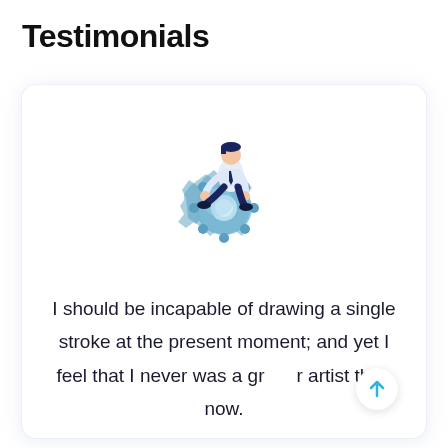Testimonials
[Figure (illustration): A businessman in a white shirt and dark tie sitting on a large blue gear/cog wheel, holding it with both hands. The illustration is in an isometric flat style with blue and white tones.]
I should be incapable of drawing a single stroke at the present moment; and yet I feel that I never was a greater artist than now.